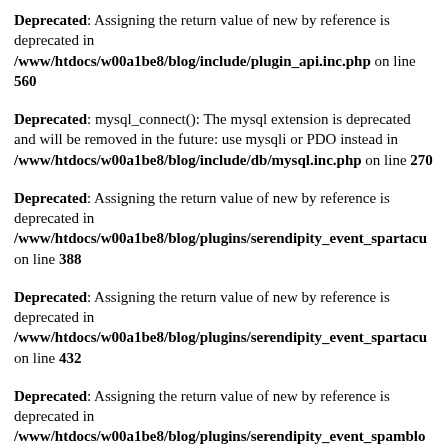Deprecated: Assigning the return value of new by reference is deprecated in /www/htdocs/w00a1be8/blog/include/plugin_api.inc.php on line 560
Deprecated: mysql_connect(): The mysql extension is deprecated and will be removed in the future: use mysqli or PDO instead in /www/htdocs/w00a1be8/blog/include/db/mysql.inc.php on line 270
Deprecated: Assigning the return value of new by reference is deprecated in /www/htdocs/w00a1be8/blog/plugins/serendipity_event_spartacu on line 388
Deprecated: Assigning the return value of new by reference is deprecated in /www/htdocs/w00a1be8/blog/plugins/serendipity_event_spartacu on line 432
Deprecated: Assigning the return value of new by reference is deprecated in /www/htdocs/w00a1be8/blog/plugins/serendipity_event_spamblo on line 464